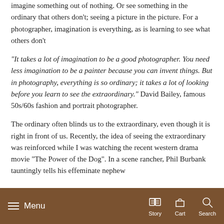imagine something out of nothing. Or see something in the ordinary that others don't; seeing a picture in the picture. For a photographer, imagination is everything, as is learning to see what others don't
"It takes a lot of imagination to be a good photographer. You need less imagination to be a painter because you can invent things. But in photography, everything is so ordinary; it takes a lot of looking before you learn to see the extraordinary." David Bailey, famous 50s/60s fashion and portrait photographer.
The ordinary often blinds us to the extraordinary, even though it is right in front of us. Recently, the idea of seeing the extraordinary was reinforced while I was watching the recent western drama movie "The Power of the Dog". In a scene rancher, Phil Burbank tauntingly tells his effeminate nephew
Menu | Story | Cart | Search